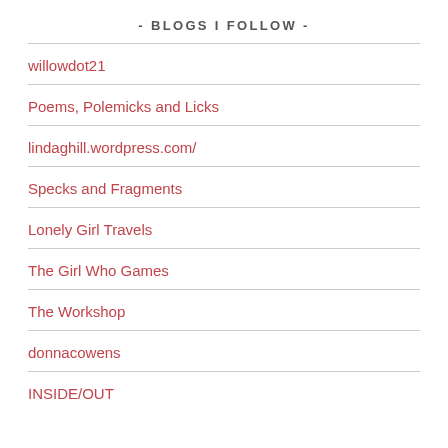- BLOGS I FOLLOW -
willowdot21
Poems, Polemicks and Licks
lindaghill.wordpress.com/
Specks and Fragments
Lonely Girl Travels
The Girl Who Games
The Workshop
donnacowens
INSIDE/OUT